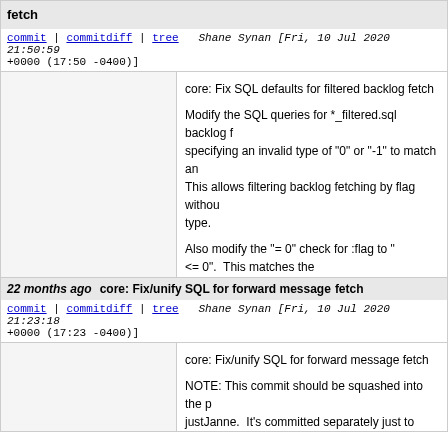fetch
commit | commitdiff | tree  Shane Synan [Fri, 10 Jul 2020 21:50:59 +0000 (17:50 -0400)]
core: Fix SQL defaults for filtered backlog fetch

Modify the SQL queries for *_filtered.sql backlog fetch specifying an invalid type of "0" or "-1" to match an. This allows filtering backlog fetching by flag without type.

Also modify the "= 0" check for :flag to "<= 0".  This matches the function definitions and fixes specifying "-1" instead. Without this change, specifying "-1" will result in m

Committed separately from the new forward back issues are found, making reverting easier.
22 months ago  core: Fix/unify SQL for forward message fetch
commit | commitdiff | tree  Shane Synan [Fri, 10 Jul 2020 21:23:18 +0000 (17:23 -0400)]
core: Fix/unify SQL for forward message fetch

NOTE: This commit should be squashed into the p justJanne.  It's committed separately just to make